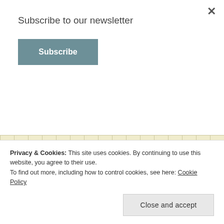×
Subscribe to our newsletter
Subscribe
[Figure (screenshot): Background grid area with 'SIGNED!' text in gold italic font over a yellow-beige grid pattern]
[Figure (illustration): Book cover for 'Count Me In' by Mikal Okan with a widget showing 'Get a free autograph for']
Get a free autograph for
Privacy & Cookies: This site uses cookies. By continuing to use this website, you agree to their use.
To find out more, including how to control cookies, see here: Cookie Policy
Close and accept